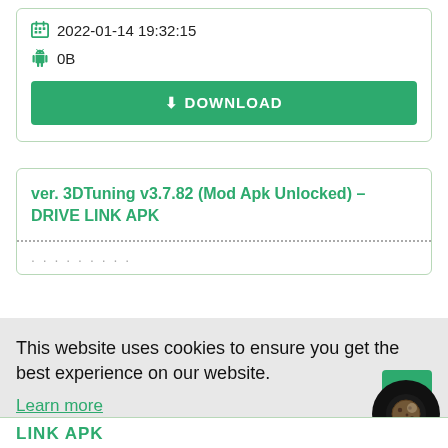2022-01-14 19:32:15
0B
DOWNLOAD
ver. 3DTuning v3.7.82 (Mod Apk Unlocked) – DRIVE LINK APK
This website uses cookies to ensure you get the best experience on our website.
Learn more
Got it!
LINK APK